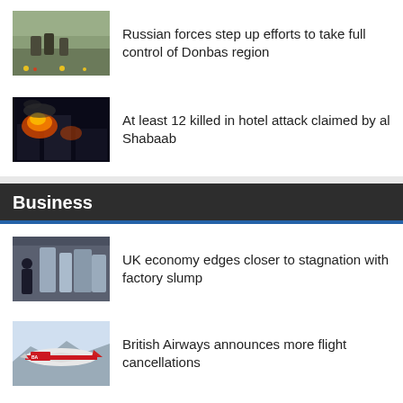[Figure (photo): Soldiers in military uniforms, outdoor scene]
Russian forces step up efforts to take full control of Donbas region
[Figure (photo): Dark scene with fire and smoke, hotel attack]
At least 12 killed in hotel attack claimed by al Shabaab
Business
[Figure (photo): Factory scene with machinery, person in foreground]
UK economy edges closer to stagnation with factory slump
[Figure (photo): British Airways aircraft on tarmac]
British Airways announces more flight cancellations